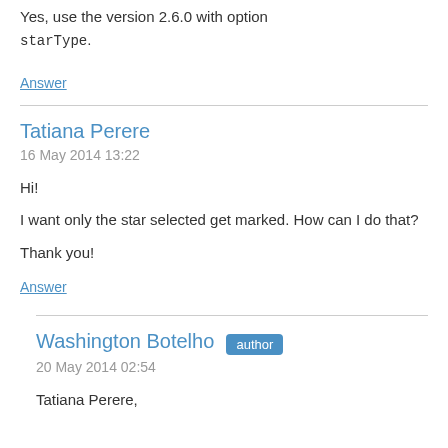Yes, use the version 2.6.0 with option starType.
Answer
Tatiana Perere
16 May 2014 13:22
Hi!
I want only the star selected get marked. How can I do that?
Thank you!
Answer
Washington Botelho author
20 May 2014 02:54
Tatiana Perere,